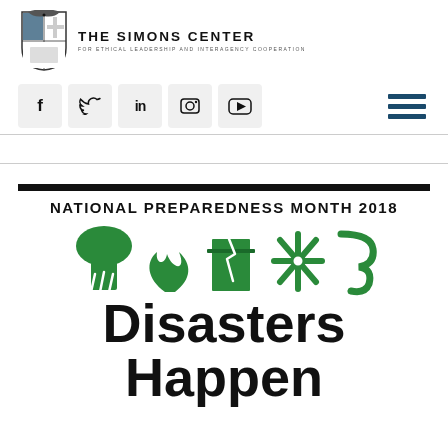[Figure (logo): The Simons Center for Ethical Leadership and Interagency Cooperation logo with shield crest and text]
[Figure (infographic): Social media icon buttons: Facebook, Twitter, LinkedIn, Flickr, YouTube, and hamburger menu icon]
NATIONAL PREPAREDNESS MONTH 2018
[Figure (illustration): National Preparedness Month 2018 green disaster icons (tornado, fire, building, snowflake, storm) above bold text reading Disasters Happen]